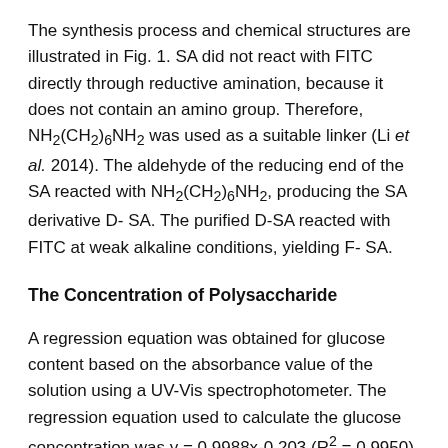The synthesis process and chemical structures are illustrated in Fig. 1. SA did not react with FITC directly through reductive amination, because it does not contain an amino group. Therefore, NH2(CH2)6NH2 was used as a suitable linker (Li et al. 2014). The aldehyde of the reducing end of the SA reacted with NH2(CH2)6NH2, producing the SA derivative D- SA. The purified D-SA reacted with FITC at weak alkaline conditions, yielding F- SA.
The Concentration of Polysaccharide
A regression equation was obtained for glucose content based on the absorbance value of the solution using a UV-Vis spectrophotometer. The regression equation used to calculate the glucose concentration was y = 0.9988x-0.203 (R2 = 0.9950) (Fig. 2) with glucose content as the horizontal